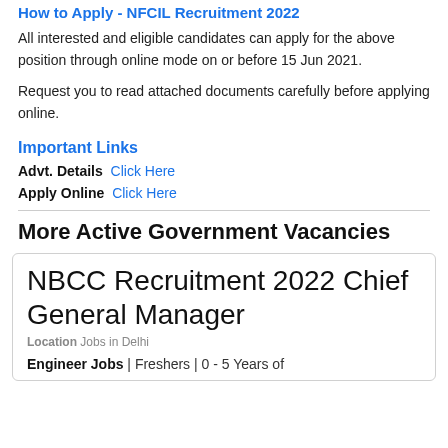How to Apply - NFCIL Recruitment 2022
All interested and eligible candidates can apply for the above position through online mode on or before 15 Jun 2021.
Request you to read attached documents carefully before applying online.
Important Links
Advt. Details  Click Here
Apply Online  Click Here
More Active Government Vacancies
NBCC Recruitment 2022 Chief General Manager
Location Jobs in Delhi
Engineer Jobs | Freshers | 0 - 5 Years of